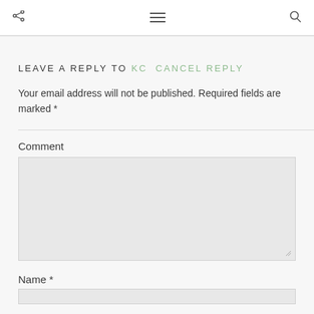share | menu | search
LEAVE A REPLY TO KC CANCEL REPLY
Your email address will not be published. Required fields are marked *
Comment
Name *